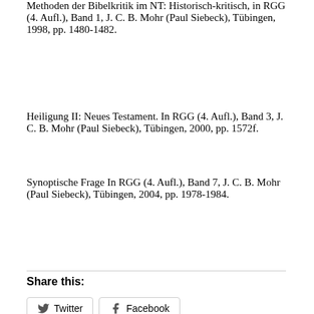Methoden der Bibelkritik im NT: Historisch-kritisch, in RGG (4. Aufl.), Band 1, J. C. B. Mohr (Paul Siebeck), Tübingen, 1998, pp. 1480-1482.
Heiligung II: Neues Testament. In RGG (4. Aufl.), Band 3, J. C. B. Mohr (Paul Siebeck), Tübingen, 2000, pp. 1572f.
Synoptische Frage In RGG (4. Aufl.), Band 7, J. C. B. Mohr (Paul Siebeck), Tübingen, 2004, pp. 1978-1984.
Share this:
Twitter | Facebook